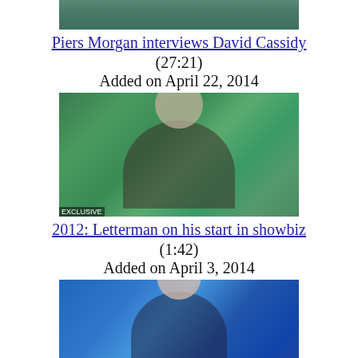[Figure (photo): Partial thumbnail of Piers Morgan interviews David Cassidy video (top cropped)]
Piers Morgan interviews David Cassidy
(27:21)
Added on April 22, 2014
[Figure (photo): Thumbnail of 2012: Letterman on his start in showbiz video showing an older man with glasses]
2012: Letterman on his start in showbiz
(1:42)
Added on April 3, 2014
[Figure (photo): Thumbnail of Piers Morgan says goodbye video showing Piers Morgan in suit]
Piers Morgan says goodbye
(3:23)
Added on March 28, 2014
[Figure (photo): Thumbnail of Missing pilot's friend: No better pilot video showing two men]
Missing pilot's friend: No better pilot
(3:22)
Added on March 13, 2014